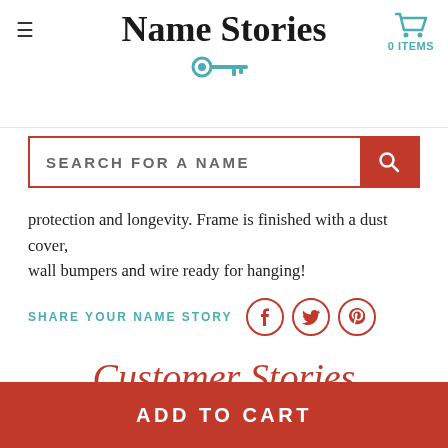Name Stories
protection and longevity. Frame is finished with a dust cover, wall bumpers and wire ready for hanging!
SHARE YOUR NAME STORY
Customer Stories
ADD TO CART